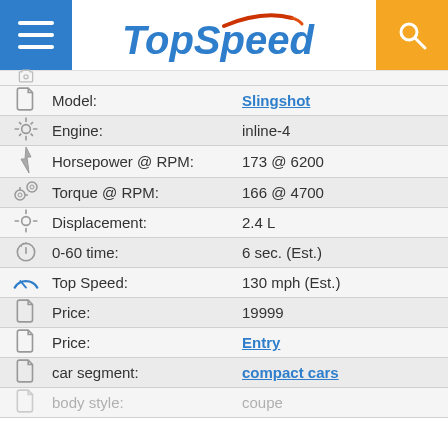TopSpeed
| Icon | Attribute | Value |
| --- | --- | --- |
| tag | Model: | Slingshot |
| key | Engine: | inline-4 |
| lightning | Horsepower @ RPM: | 173 @ 6200 |
| gear | Torque @ RPM: | 166 @ 4700 |
| key | Displacement: | 2.4 L |
| stopwatch | 0-60 time: | 6 sec. (Est.) |
| speedometer | Top Speed: | 130 mph (Est.) |
| tag | Price: | 19999 |
| tag | Price: | Entry |
| tag | car segment: | compact cars |
| tag | body style: | coupe |